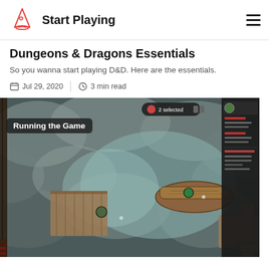Start Playing
Dungeons & Dragons Essentials
So you wanna start playing D&D. Here are the essentials.
Jul 29, 2020  |  3 min read
[Figure (screenshot): Screenshot of a tabletop RPG virtual map showing a foggy harbor scene with docks, a wooden boat, and character tokens. A 'Running the Game' label is visible in the top-left of the image, and a '2 selected' pill in the top-center. A sidebar with character stats is visible on the right.]